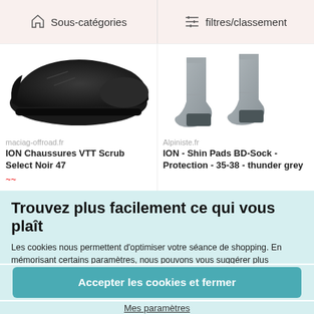Sous-catégories
filtres/classement
[Figure (photo): Close-up photo of a black MTB shoe sole]
maciag-offroad.fr
ION Chaussures VTT Scrub Select Noir 47
[Figure (photo): Photo of grey ankle socks (BD-Sock) on a person]
Alpiniste.fr
ION - Shin Pads BD-Sock - Protection - 35-38 - thunder grey
Trouvez plus facilement ce qui vous plaît
Les cookies nous permettent d'optimiser votre séance de shopping. En mémorisant certains paramètres, nous pouvons vous suggérer plus facilement d'éventuels futurs coups de cœur. Cela nous permet également d'être à vos côtés pendant votre visite et d'identifier les aspects que nous pourrions améliorer, afin que votre expérience soit la plus fluide possible (bugs, options manquantes…). En conséquence, nous partageons ces informations avec nos partenaires, qui nous aident
Accepter les cookies et fermer
Mes paramètres